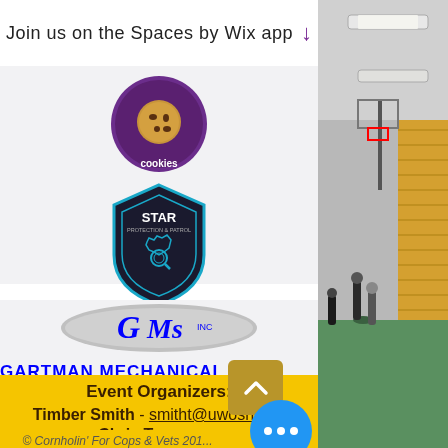Join us on the Spaces by Wix app
[Figure (logo): Cookie logo - circular purple badge with cookie icon]
[Figure (logo): STAR Protection & Patrol shield logo]
[Figure (logo): GMS Inc - Gartman Mechanical Services logo with oval and blue text]
Event Organizers:
Timber Smith - smitht@uwosh.edu
Chris Tarmann - tarmannc@uwosh.edu
© Cornholin' For Cops & Vets 201...
[Figure (photo): Gymnasium interior photo showing bleachers, basketball hoops, and people on the court]